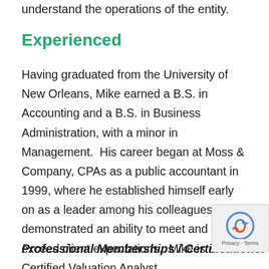understand the operations of the entity.
Experienced
Having graduated from the University of New Orleans, Mike earned a B.S. in Accounting and a B.S. in Business Administration, with a minor in Management.  His career began at Moss & Company, CPAs as a public accountant in 1999, where he established himself early on as a leader among his colleagues and demonstrated an ability to meet and exceed client expectations.  Mike is a Certified Valuation Analyst.
Professional Memberships / Certifications: